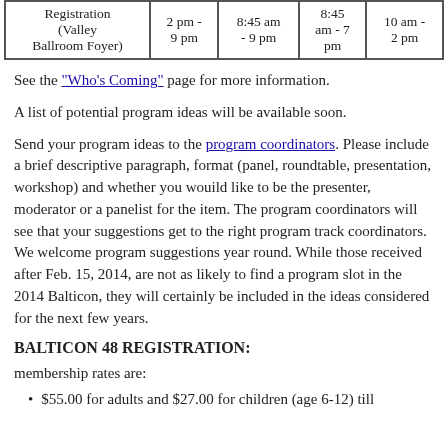|  |  |  |  |  |
| --- | --- | --- | --- | --- |
| Registration (Valley Ballroom Foyer) | 2 pm - 9 pm | 8:45 am - 9 pm | 8:45 am - 7 pm | 10 am - 2 pm |
See the "Who's Coming" page for more information.
A list of potential program ideas will be available soon.
Send your program ideas to the program coordinators. Please include a brief descriptive paragraph, format (panel, roundtable, presentation, workshop) and whether you wouild like to be the presenter, moderator or a panelist for the item. The program coordinators will see that your suggestions get to the right program track coordinators. We welcome program suggestions year round. While those received after Feb. 15, 2014, are not as likely to find a program slot in the 2014 Balticon, they will certainly be included in the ideas considered for the next few years.
BALTICON 48 REGISTRATION:
membership rates are:
$55.00 for adults and $27.00 for children (age 6-12) till